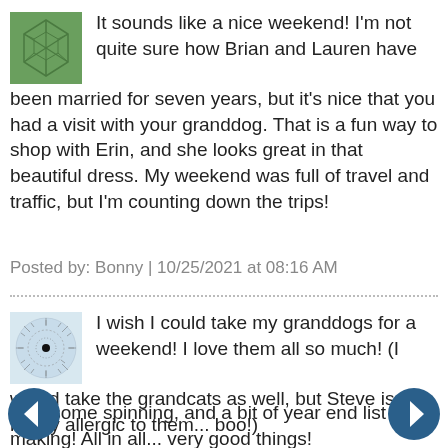[Figure (illustration): Green square avatar with geometric line pattern resembling a soccer ball or leaf veins]
It sounds like a nice weekend! I'm not quite sure how Brian and Lauren have been married for seven years, but it's nice that you had a visit with your granddog. That is a fun way to shop with Erin, and she looks great in that beautiful dress. My weekend was full of travel and traffic, but I'm counting down the trips!
Posted by: Bonny | 10/25/2021 at 08:16 AM
[Figure (illustration): Circular avatar with a dark center dot and radiating dotted/spiky pattern on light blue background]
I wish I could take my granddogs for a weekend! I love them all so much! (I would take the grandcats as well, but Steve is highly allergic to them... boo!)
I did some spinning, and a bit of year end list making! All in all... very good things!